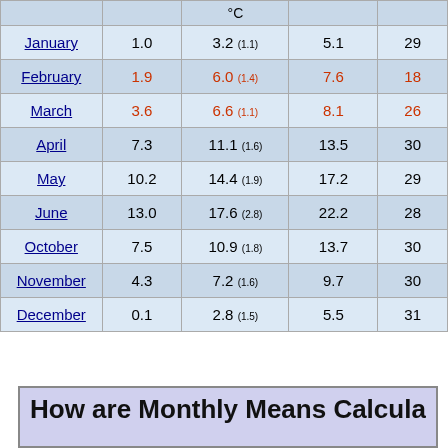| Month |  | °C |  |  |
| --- | --- | --- | --- | --- |
| January | 1.0 | 3.2 (1.1) | 5.1 | 29 |
| February | 1.9 | 6.0 (1.4) | 7.6 | 18 |
| March | 3.6 | 6.6 (1.1) | 8.1 | 26 |
| April | 7.3 | 11.1 (1.6) | 13.5 | 30 |
| May | 10.2 | 14.4 (1.9) | 17.2 | 29 |
| June | 13.0 | 17.6 (2.8) | 22.2 | 28 |
| October | 7.5 | 10.9 (1.8) | 13.7 | 30 |
| November | 4.3 | 7.2 (1.6) | 9.7 | 30 |
| December | 0.1 | 2.8 (1.5) | 5.5 | 31 |
How are Monthly Means Calculated?